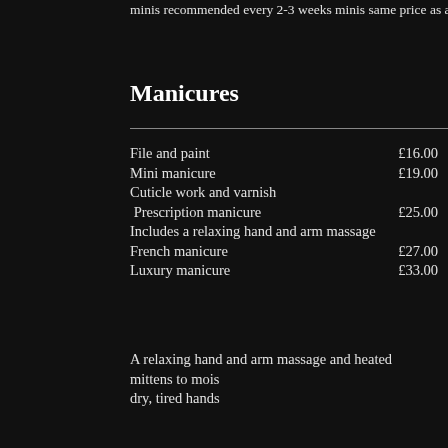minis recommended every 2-3 weeks minis same price as a...
Manicures
File and paint £16.00
Mini manicure £19.00
Cuticle work and varnish
Prescription manicure £25.00
Includes a relaxing hand and arm massage
French manicure £27.00
Luxury manicure £33.00
A relaxing hand and arm massage and heated mittens to mois dry, tired hands